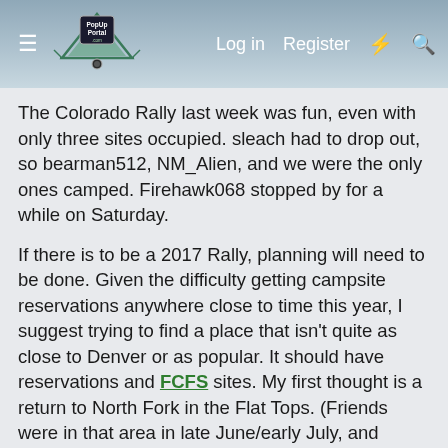PopUpPortal.com — Log in | Register
The Colorado Rally last week was fun, even with only three sites occupied. sleach had to drop out, so bearman512, NM_Alien, and we were the only ones camped. Firehawk068 stopped by for a while on Saturday.

If there is to be a 2017 Rally, planning will need to be done. Given the difficulty getting campsite reservations anywhere close to time this year, I suggest trying to find a place that isn't quite as close to Denver or as popular. It should have reservations and FCFS sites. My first thought is a return to North Fork in the Flat Tops. (Friends were in that area in late June/early July, and found it was not as busy as come of the other places they were.)
Most of the USFS campgrounds begin to take reservations 6 months in advance. I don't remember the timing for state parks. We did scope out Camp Hale during this trip, it's still in the Leadville area, but didn't seem quite a busy as White Star (no lake?). We've camped at White Star for probably 20 years, the Rally...